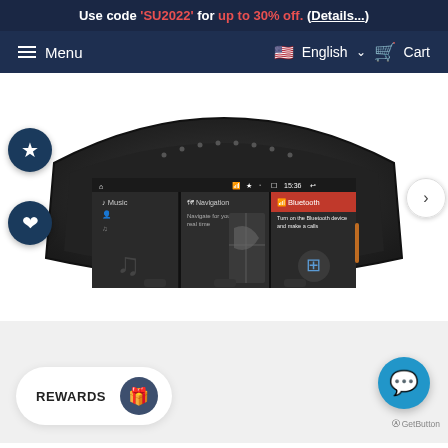Use code 'SU2022' for up to 30% off. (Details...)
Menu | English | Cart
[Figure (photo): BMW car multimedia head unit with touchscreen showing Music, Navigation, and Bluetooth menu options. The screen displays time 15:36, with icons and a dark curved housing.]
REWARDS
[Figure (illustration): Chat/support button (GetButton) in blue circle at bottom right]